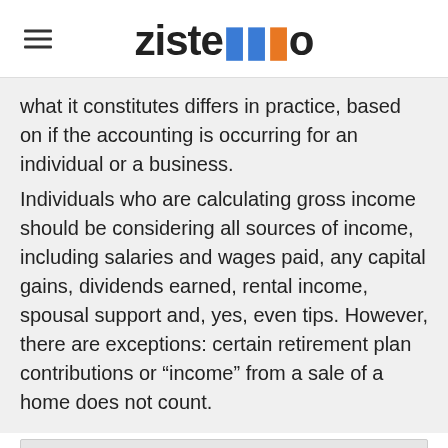zistemo
what it constitutes differs in practice, based on if the accounting is occurring for an individual or a business.
Individuals who are calculating gross income should be considering all sources of income, including salaries and wages paid, any capital gains, dividends earned, rental income, spousal support and, yes, even tips. However, there are exceptions: certain retirement plan contributions or “income” from a sale of a home does not count.